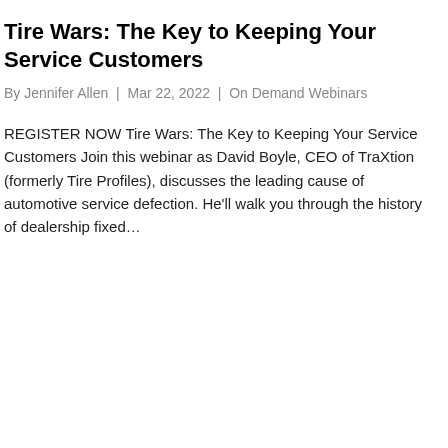Tire Wars: The Key to Keeping Your Service Customers
By Jennifer Allen  |  Mar 22, 2022  |  On Demand Webinars
REGISTER NOW Tire Wars: The Key to Keeping Your Service Customers Join this webinar as David Boyle, CEO of TraXtion (formerly Tire Profiles), discusses the leading cause of automotive service defection. He'll walk you through the history of dealership fixed...